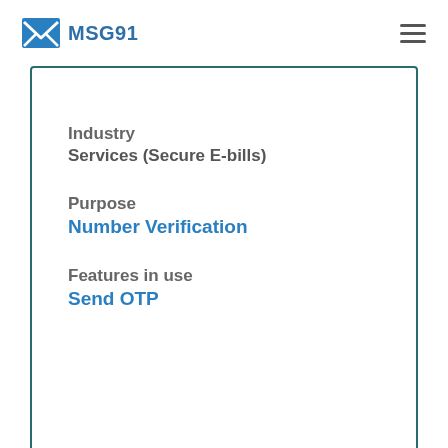MSG91
Industry
Services (Secure E-bills)
Purpose
Number Verification
Features in use
Send OTP